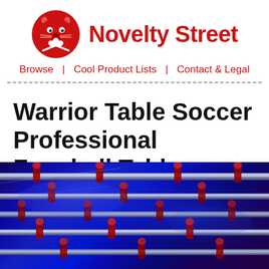[Figure (logo): Novelty Street logo: red cartoon hamster/bear face with ping pong paddle, holding crossed paddles, circular red icon]
Novelty Street
Browse  |  Cool Product Lists  |  Contact & Legal
Warrior Table Soccer Professional Foosball Table
[Figure (photo): Close-up photo of a foosball table under blue/purple lighting, showing metal rods and red foosball player figures]